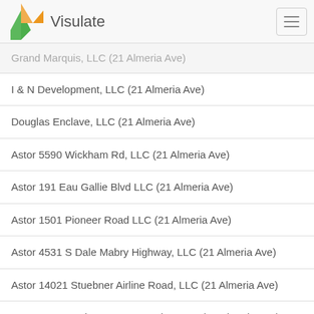Visulate
Grand Marquis, LLC (21 Almeria Ave)
I & N Development, LLC (21 Almeria Ave)
Douglas Enclave, LLC (21 Almeria Ave)
Astor 5590 Wickham Rd, LLC (21 Almeria Ave)
Astor 191 Eau Gallie Blvd LLC (21 Almeria Ave)
Astor 1501 Pioneer Road LLC (21 Almeria Ave)
Astor 4531 S Dale Mabry Highway, LLC (21 Almeria Ave)
Astor 14021 Stuebner Airline Road, LLC (21 Almeria Ave)
Astor 3569 Northwest Centre Drive, LLC (21 Almeria Ave)
Astor Property Holdings, LLC (21 Almerai Ave)